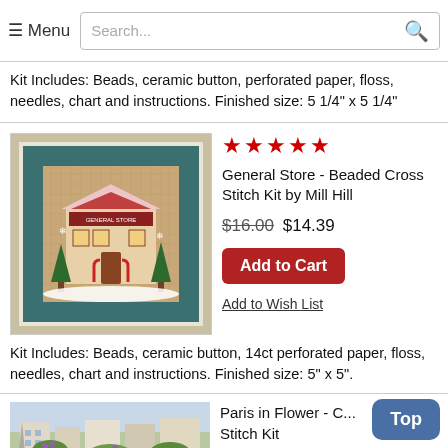≡ Menu  Search...
Kit Includes: Beads, ceramic button, perforated paper, floss, needles, chart and instructions. Finished size: 5 1/4" x 5 1/4"
[Figure (photo): Framed cross stitch of a General Store building in winter with Christmas decorations, teal mat and white frame]
★★★★★
General Store - Beaded Cross Stitch Kit by Mill Hill
$16.00 $14.39
Add to Cart
Add to Wish List
Kit Includes: Beads, ceramic button, 14ct perforated paper, floss, needles, chart and instructions. Finished size: 5" x 5".
[Figure (photo): Partial view of a Paris street scene cross stitch or photo showing buildings with flowers]
Paris in Flower - C... Stitch Kit